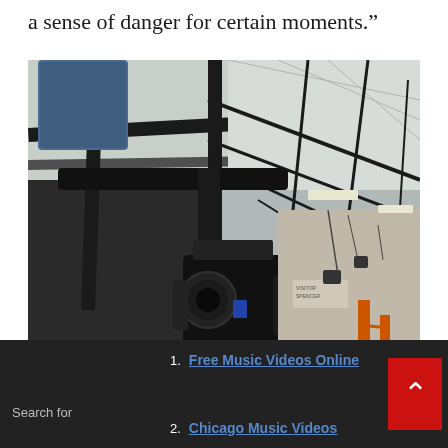a sense of danger for certain moments.”
[Figure (photo): A large camera rig mounted on a crane or jib arm inside a warehouse or studio space with black tent-like ceiling structure. The camera is professional film/video equipment with multiple components. An orange ladder and studio equipment are visible in the background on the right side.]
Search for
Free Music Videos Online
Chicago Music Videos